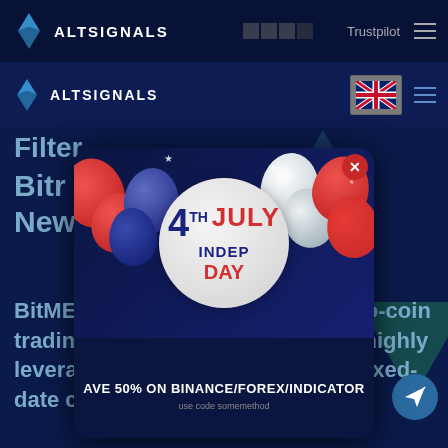ALTSIGNALS | Trustpilot
ALTSIGNALS
[Figure (screenshot): 4th July Independence Day promotional popup with red, white and blue balloons on dark navy background. Center white circular badge reads '4TH JULY INDEP DAY'. Bottom bar reads 'SAVE 50% ON BINANCE/FOREX/INDICATOR'. Close button (X) in top right of popup.]
Filter
Bitr   als, New
BitMEX is a next-generation crypto-coin trading platform, which supports highly leveraged trading via perpet and fixed-date contracts.